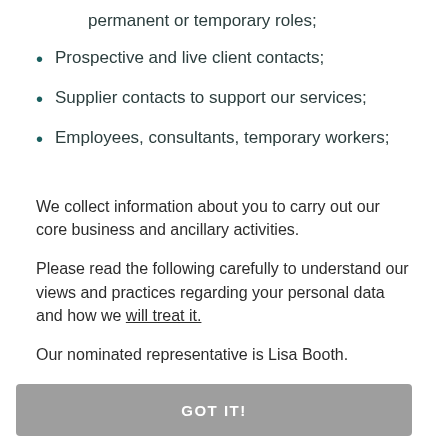permanent or temporary roles;
Prospective and live client contacts;
Supplier contacts to support our services;
Employees, consultants, temporary workers;
We collect information about you to carry out our core business and ancillary activities.
Please read the following carefully to understand our views and practices regarding your personal data and how we will treat it.
Our nominated representative is Lisa Booth.